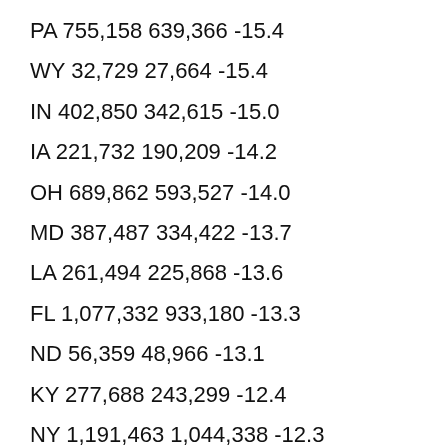PA 755,158 639,366 -15.4
WY 32,729 27,664 -15.4
IN 402,850 342,615 -15.0
IA 221,732 190,209 -14.2
OH 689,862 593,527 -14.0
MD 387,487 334,422 -13.7
LA 261,494 225,868 -13.6
FL 1,077,332 933,180 -13.3
ND 56,359 48,966 -13.1
KY 277,688 243,299 -12.4
NY 1,191,463 1,044,338 -12.3